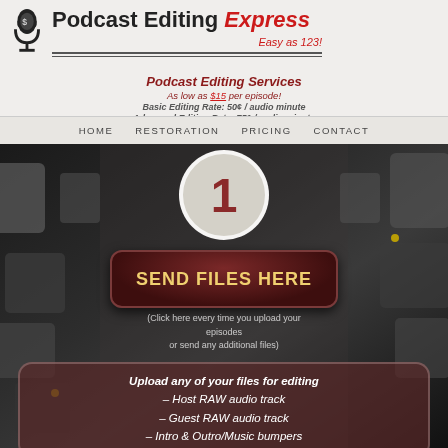Podcast Editing Express — Easy as 123!
Podcast Editing Services
As low as $15 per episode!
Basic Editing Rate: 50¢ / audio minute
Advanced Editing Rate: 75¢ / audio minute
HOME   RESTORATION   PRICING   CONTACT
[Figure (photo): Dark background showing audio mixing board / keyboard keys in grayscale]
1
SEND FILES HERE
(Click here every time you upload your episodes or send any additional files)
Upload any of your files for editing
– Host RAW audio track
– Guest RAW audio track
– Intro & Outro/Music bumpers